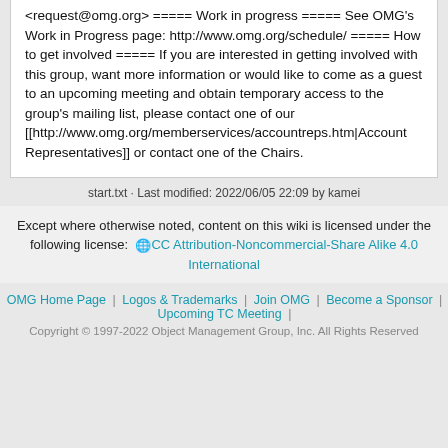<request@omg.org> ===== Work in progress ===== See OMG's Work in Progress page: http://www.omg.org/schedule/ ===== How to get involved ===== If you are interested in getting involved with this group, want more information or would like to come as a guest to an upcoming meeting and obtain temporary access to the group's mailing list, please contact one of our [[http://www.omg.org/memberservices/accountreps.htm|Account Representatives]] or contact one of the Chairs.
start.txt · Last modified: 2022/06/05 22:09 by kamei
Except where otherwise noted, content on this wiki is licensed under the following license: CC Attribution-Noncommercial-Share Alike 4.0 International
OMG Home Page | Logos & Trademarks | Join OMG | Become a Sponsor | Upcoming TC Meeting | Copyright © 1997-2022 Object Management Group, Inc. All Rights Reserved